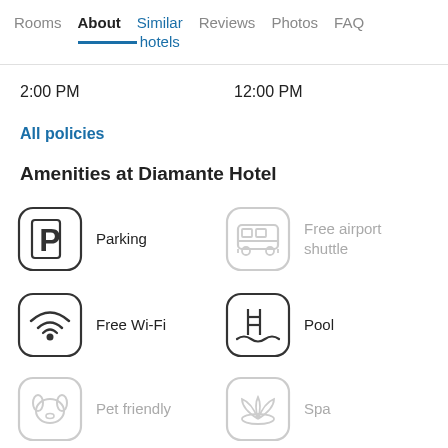Rooms  About  Similar hotels  Reviews  Photos  FAQ
2:00 PM    12:00 PM
All policies
Amenities at Diamante Hotel
Parking
Free airport shuttle
Free Wi-Fi
Pool
Pet friendly
Spa